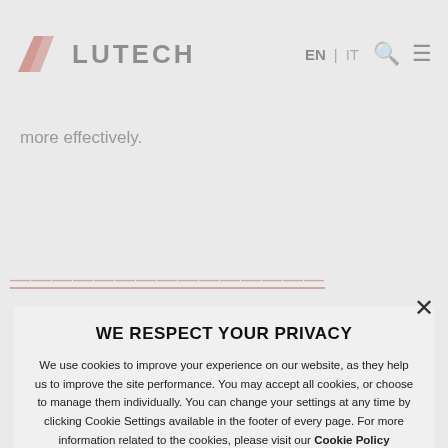[Figure (logo): Lutech company logo with red chevron/arrow mark and bold text LUTECH]
EN | IT  🔍 ☰
more effectively.
WE RESPECT YOUR PRIVACY
We use cookies to improve your experience on our website, as they help us to improve the site performance. You may accept all cookies, or choose to manage them individually. You can change your settings at any time by clicking Cookie Settings available in the footer of every page. For more information related to the cookies, please visit our Cookie Policy
DECLINE ALL COOKIES
ALLOW ALL COOKIES
⚙ SHOW DETAILS